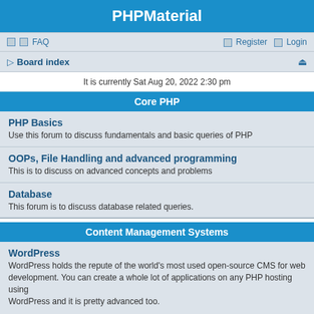PHPMaterial
FAQ   Register   Login
Board index
It is currently Sat Aug 20, 2022 2:30 pm
Core PHP
PHP Basics - Use this forum to discuss fundamentals and basic queries of PHP
OOPs, File Handling and advanced programming - This is to discuss on advanced concepts and problems
Database - This forum is to discuss database related queries.
Content Management Systems
WordPress - WordPress holds the repute of the world's most used open-source CMS for web development. You can create a whole lot of applications on any PHP hosting using WordPress and it is pretty advanced too. Use this forum to discuss WordPress related to queries